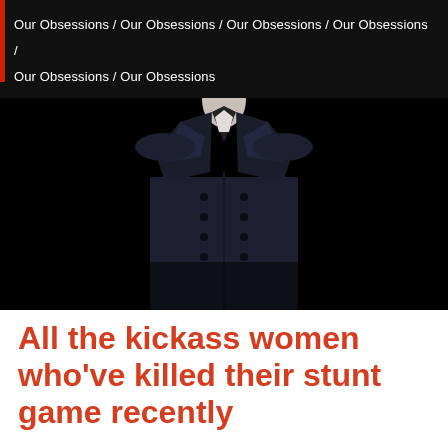Our Obsessions / Our Obsessions / Our Obsessions / Our Obsessions / Our Obsessions / Our Obsessions
[Figure (photo): A figure wearing a dark navy double-breasted overcoat, photographed against a black background. The torso and coat are visible, with a white collarbone/chest area visible at the neckline.]
All the kickass women who've killed their stunt game recently
Here are the best actresses-turned-stuntwomen who have been kicking some serious ass on the big and small screens of late.